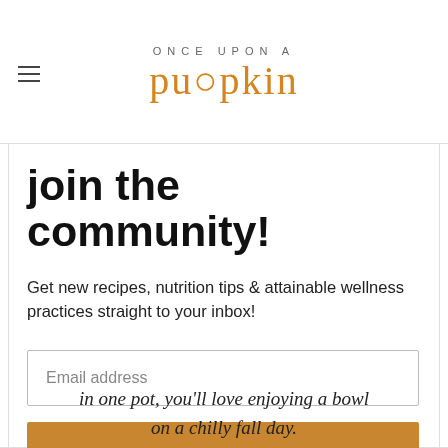ONCE UPON A pumpkin
join the community!
Get new recipes, nutrition tips & attainable wellness practices straight to your inbox!
Email address
Subscribe
in one pot, you'll love enjoying a bowl on a chilly fall day.